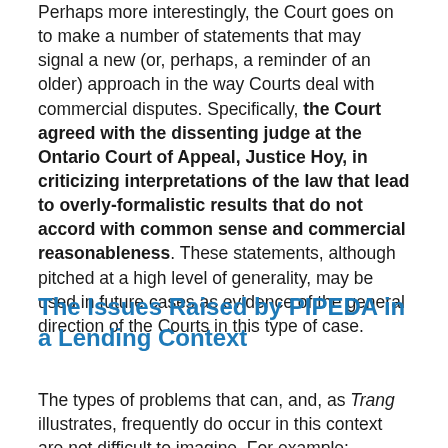Perhaps more interestingly, the Court goes on to make a number of statements that may signal a new (or, perhaps, a reminder of an older) approach in the way Courts deal with commercial disputes. Specifically, the Court agreed with the dissenting judge at the Ontario Court of Appeal, Justice Hoy, in criticizing interpretations of the law that lead to overly-formalistic results that do not accord with common sense and commercial reasonableness. These statements, although pitched at a high level of generality, may be used in future cases as evidence of the general direction of the Courts in this type of case.
The Issues Raised by PIPEDA in a Lending Context
The types of problems that can, and, as Trang illustrates, frequently do occur in this context are not difficult to imagine. For example: